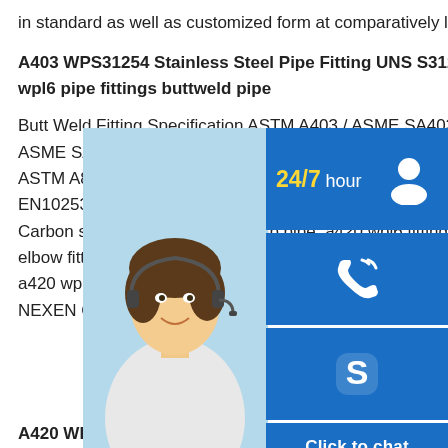in standard as well as customized form at comparatively lower rates.
A403 WPS31254 Stainless Steel Pipe Fitting UNS S31254 asme a420 wpl6 pipe fittings buttweld pipe
Butt Weld Fitting Specification ASTM A403 / ASME SA403, ASTM A815 / ASME SA815, ASTM A420 / ASME SA420, ASTM A234 / ASME SA234, ASTM A860 / ASME SA860, ASTM B366 / ASME SB366, DIN 2605 Part 2, EN10253-2 / EN10253-4. A420 WPL6 Fittings manufacturers in India, Carbon steel a420 wpl6 sch20 cap pipe, a420 wpl6 fitting, A420 WPL6 elbow fitting, ASTM A420 WPL6 A333 GR.6 pipe fittings, butt weld ASTM a420 wpl6 carbon steel seamless pipe fitting DIN2615 reducing tee NEXEN GOLDEN EAGLE W-JACKET, OFFSHORE UK NORTH SEA
A420 WPL6 Fittings ASTM A420 Gr. WPL6 WPL3
[Figure (photo): Customer service representative smiling, with 24/7 hour support overlay, phone icon, Skype icon, and Click to chat button — all in blue theme]